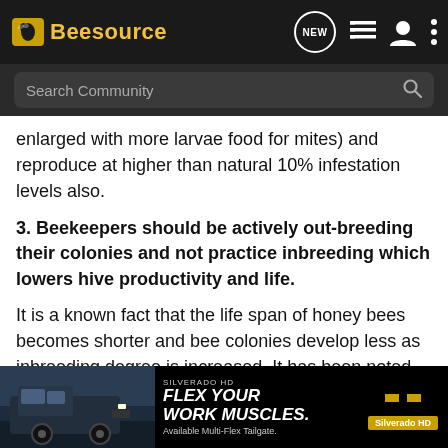Beesource — navigation bar with logo, NEW, list, user, and menu icons
Search Community
enlarged with more larvae food for mites) and reproduce at higher than natural 10% infestation levels also.
3. Beekeepers should be actively out-breeding their colonies and not practice inbreeding which lowers hive productivity and life.
It is a known fact that the life span of honey bees becomes shorter and bee colonies develop less as inbreeding degree is increased. It has been noted that F4 out-bred queens can produce 300% more brood then F4 inbred queens. Bees were not meant to be artificially when in the
[Figure (photo): Chevrolet Silverado HD advertisement overlay. Text reads: SILVERADO HD / FLEX YOUR WORK MUSCLES. / Available Multi-Flex Tailgate. Chevrolet logo and Silverado HD badge on the right.]